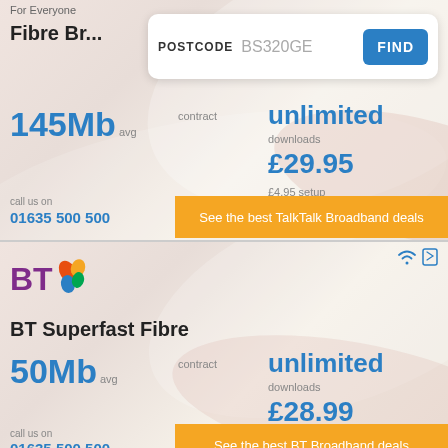For Everyone
Fibre Br...
POSTCODE  BS320GE
FIND
145Mb avg
contract
unlimited
downloads
£29.95
£4.95 setup
call us on
01635 500 500
See the best TalkTalk Broadband deals
[Figure (logo): BT logo with coloured butterfly icon]
BT Superfast Fibre
50Mb avg
contract
unlimited
downloads
£28.99
£9.99 setup
call us on
01635 500 500
See the best BT Broadband deals